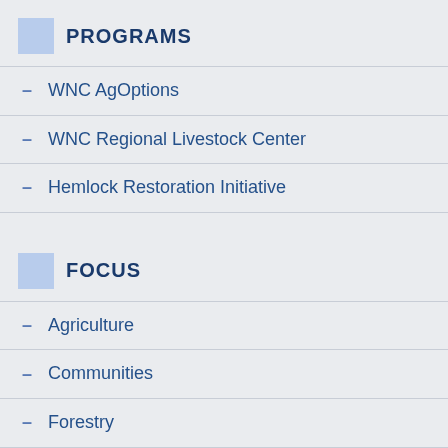PROGRAMS
WNC AgOptions
WNC Regional Livestock Center
Hemlock Restoration Initiative
FOCUS
Agriculture
Communities
Forestry